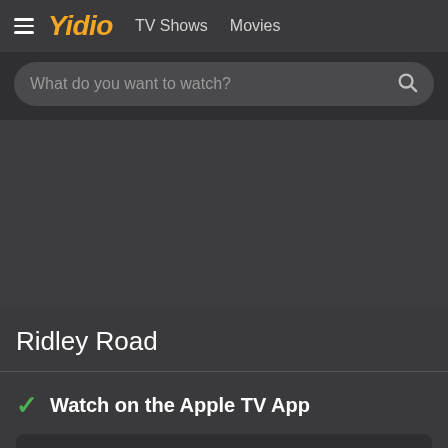Yidio  TV Shows  Movies
What do you want to watch?
Ridley Road
Watch on the Apple TV App
All your TV. All in one App.